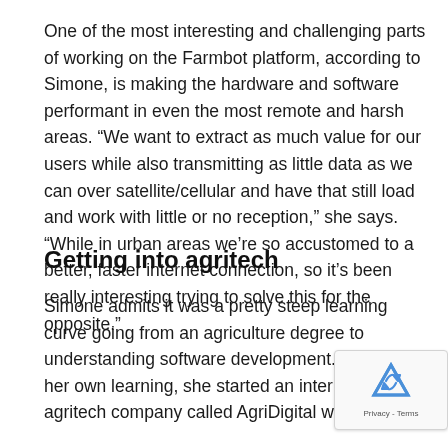One of the most interesting and challenging parts of working on the Farmbot platform, according to Simone, is making the hardware and software performant in even the most remote and harsh areas. “We want to extract as much value for our users while also transmitting as little data as we can over satellite/cellular and have that still load and work with little or no reception,” she says. “While in urban areas we’re so accustomed to a better, faster internet connection, so it’s been really interesting trying to solve this for the opposite.”
Getting into agritech
Simone admits it was a pretty steep learning curve going from an agriculture degree to understanding software development. To support her own learning, she started an internship at an agritech company called AgriDigital wh...